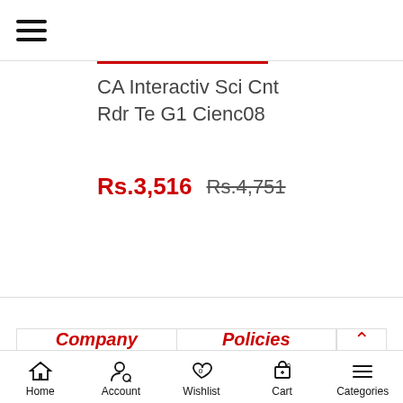≡ (hamburger menu icon)
CA Interactiv Sci Cnt Rdr Te G1 Cienc08
Rs.3,516  Rs.4,751 (strikethrough)
Company
Policies
Home  Account  Wishlist 0  Cart 0  Categories